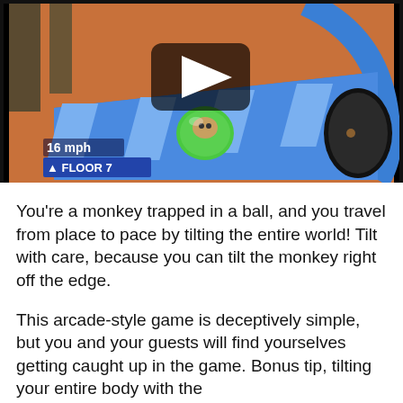[Figure (screenshot): A video screenshot from Super Monkey Ball or similar game showing a monkey in a green ball on a blue checkered floor platform. A video play button (triangle) is overlaid in the center. The HUD shows '16 mph' and 'FLOOR 7' in the bottom left.]
You're a monkey trapped in a ball, and you travel from place to pace by tilting the entire world! Tilt with care, because you can tilt the monkey right off the edge.
This arcade-style game is deceptively simple, but you and your guests will find yourselves getting caught up in the game. Bonus tip, tilting your entire body with the